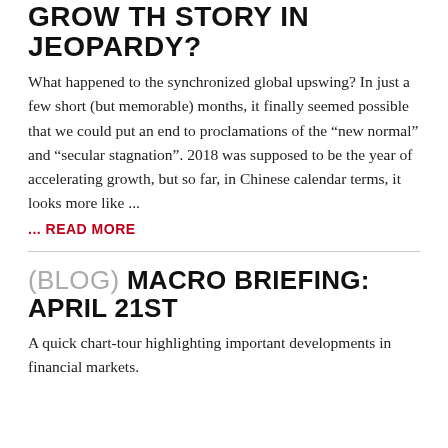GROWTH STORY IN JEOPARDY?
What happened to the synchronized global upswing? In just a few short (but memorable) months, it finally seemed possible that we could put an end to proclamations of the “new normal” and “secular stagnation”. 2018 was supposed to be the year of accelerating growth, but so far, in Chinese calendar terms, it looks more like ...
... READ MORE
(BLOG) MACRO BRIEFING: APRIL 21ST
A quick chart-tour highlighting important developments in financial markets.